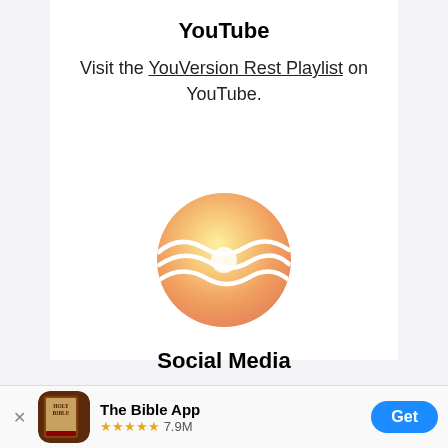YouTube
Visit the YouVersion Rest Playlist on YouTube.
[Figure (logo): Circular gradient logo with orange/yellow tones and white flowing wave lines, representing the YouVersion Rest playlist or app icon.]
Social Media
Follow us on Instagram @youversionrest
The Bible App ★★★★★ 7.9M  Get